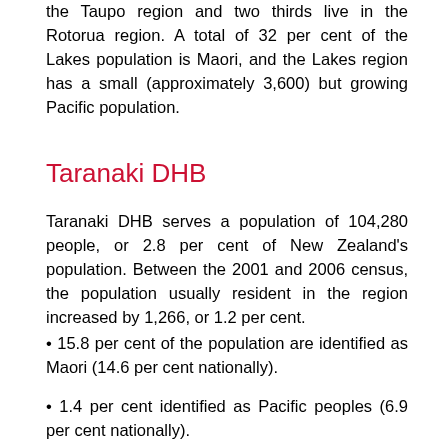the Taupo region and two thirds live in the Rotorua region. A total of 32 per cent of the Lakes population is Maori, and the Lakes region has a small (approximately 3,600) but growing Pacific population.
Taranaki DHB
Taranaki DHB serves a population of 104,280 people, or 2.8 per cent of New Zealand's population. Between the 2001 and 2006 census, the population usually resident in the region increased by 1,266, or 1.2 per cent.
• 15.8 per cent of the population are identified as Maori (14.6 per cent nationally).
• 1.4 per cent identified as Pacific peoples (6.9 per cent nationally).